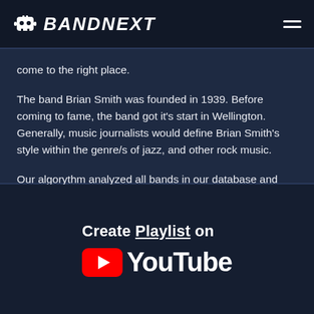BANDNEXT
come to the right place.
The band Brian Smith was founded in 1939. Before coming to fame, the band got it's start in Wellington. Generally, music journalists would define Brian Smith's style within the genre/s of jazz, and other rock music.
Our algorythm analyzed all bands in our database and below you find the top results.
[Figure (logo): Create Playlist on YouTube logo banner with YouTube red play button icon and white YouTube wordmark]